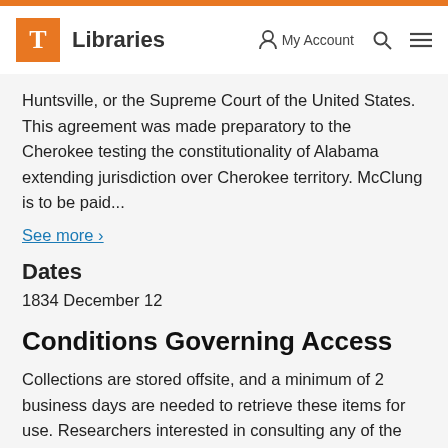T Libraries | My Account | Search | Menu
Huntsville, or the Supreme Court of the United States. This agreement was made preparatory to the Cherokee testing the constitutionality of Alabama extending jurisdiction over Cherokee territory. McClung is to be paid...
See more >
Dates
1834 December 12
Conditions Governing Access
Collections are stored offsite, and a minimum of 2 business days are needed to retrieve these items for use. Researchers interested in consulting any of the